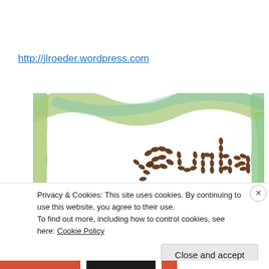http://jlroeder.wordpress.com
[Figure (illustration): Watercolor frame with green and yellow brushstroke borders, containing the word 'Sunday' spelled out in coffee beans arranged to form the letters]
Privacy & Cookies: This site uses cookies. By continuing to use this website, you agree to their use.
To find out more, including how to control cookies, see here: Cookie Policy
Close and accept